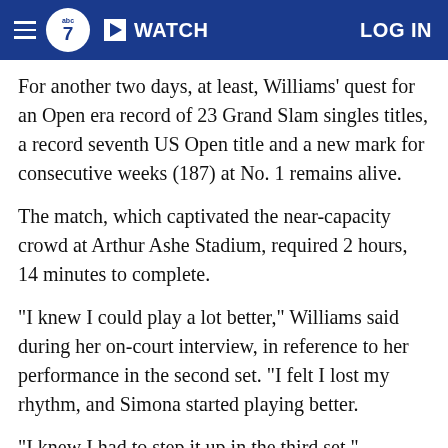abc7 | WATCH | LOG IN
For another two days, at least, Williams' quest for an Open era record of 23 Grand Slam singles titles, a record seventh US Open title and a new mark for consecutive weeks (187) at No. 1 remains alive.
The match, which captivated the near-capacity crowd at Arthur Ashe Stadium, required 2 hours, 14 minutes to complete.
"I knew I could play a lot better," Williams said during her on-court interview, in reference to her performance in the second set. "I felt I lost my rhythm, and Simona started playing better.
"I knew I had to step it up in the third set."